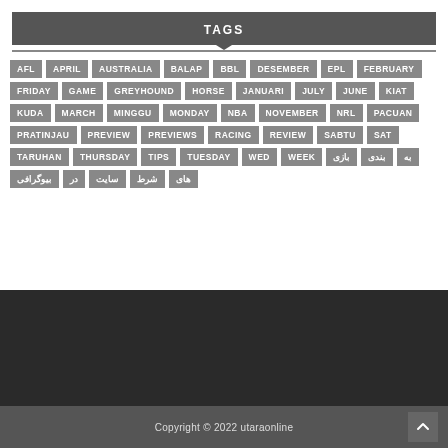TAGS
AFL APRIL AUSTRALIA BALAP BBL DESEMBER EPL FEBRUARY FRIDAY GAME GREYHOUND HORSE JANUARI JULY JUNE KIAT KUDA MARCH MINGGU MONDAY NBA NOVEMBER NRL PACUAN PRATINJAU PREVIEW PREVIEWS RACING REVIEW SABTU SAT TARUHAN THURSDAY TIPS TUESDAY WED WEEK بازی بندی به بیوگرافی در سایت شرط های
Copyright © 2022 utaraonline